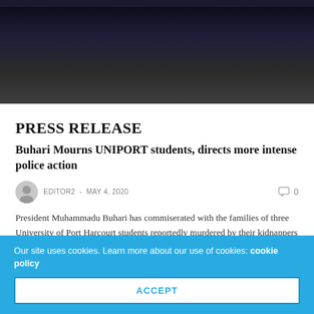[Figure (photo): Dark hero image with gradient background, top portion of an article page]
PRESS RELEASE
Buhari Mourns UNIPORT students, directs more intense police action
EDITOR2  -  MAY 4, 2020   0
President Muhammadu Buhari has commiserated with the families of three University of Port Harcourt students reportedly murdered by their kidnappers and their bodies buried in a shallow grave in April. Mallam Garba Shehu, Senior Special Assistant to the President (Media…
Our site uses cookies. Learn more about our use of cookies: cookie policy
ACCEPT